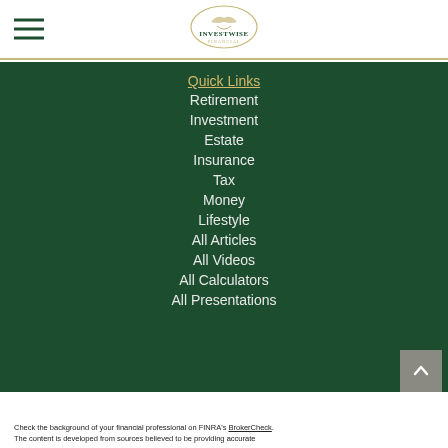[Figure (logo): InvestWise Financial logo with bird/wing graphic and circular border]
Quick Links
Retirement
Investment
Estate
Insurance
Tax
Money
Lifestyle
All Articles
All Videos
All Calculators
All Presentations
Check the background of your financial professional on FINRA’s BrokerCheck.
The content is developed from sources believed to be providing accurate